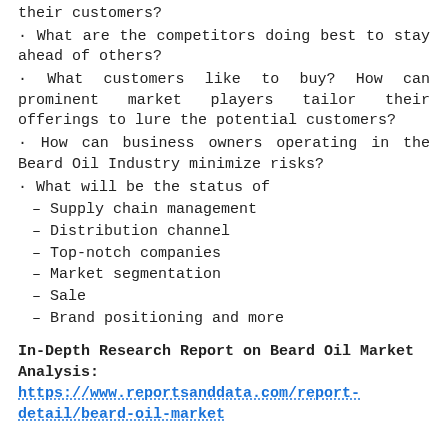their customers?
• What are the competitors doing best to stay ahead of others?
• What customers like to buy? How can prominent market players tailor their offerings to lure the potential customers?
• How can business owners operating in the Beard Oil Industry minimize risks?
• What will be the status of
– Supply chain management
– Distribution channel
– Top-notch companies
– Market segmentation
– Sale
– Brand positioning and more
In-Depth Research Report on Beard Oil Market Analysis: https://www.reportsanddata.com/report-detail/beard-oil-market